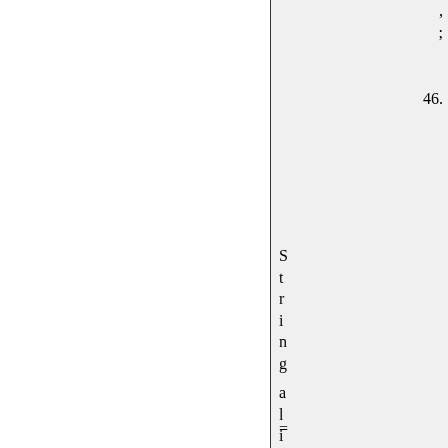,
;
46.
S
t
r
i
n
g
a
l
i
a
s
=